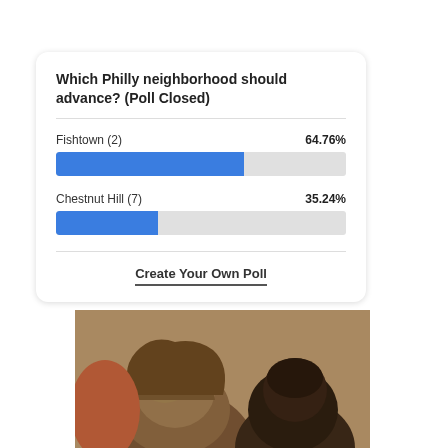Which Philly neighborhood should advance? (Poll Closed)
[Figure (bar-chart): Which Philly neighborhood should advance? (Poll Closed)]
Create Your Own Poll
[Figure (photo): Photo of two people with curly hair, partially visible, close-up shot]